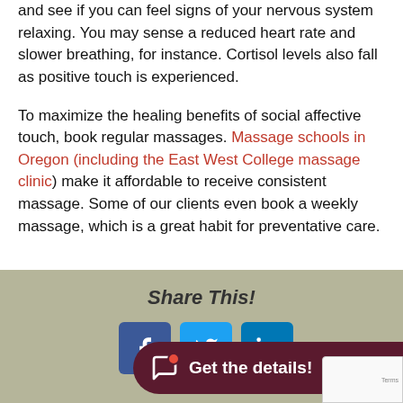and see if you can feel signs of your nervous system relaxing. You may sense a reduced heart rate and slower breathing, for instance. Cortisol levels also fall as positive touch is experienced.
To maximize the healing benefits of social affective touch, book regular massages. Massage schools in Oregon (including the East West College massage clinic) make it affordable to receive consistent massage. Some of our clients even book a weekly massage, which is a great habit for preventative care.
[Figure (infographic): Share This! social sharing box with Facebook, Twitter, LinkedIn icons and a dark red 'Get the details!' CTA button]